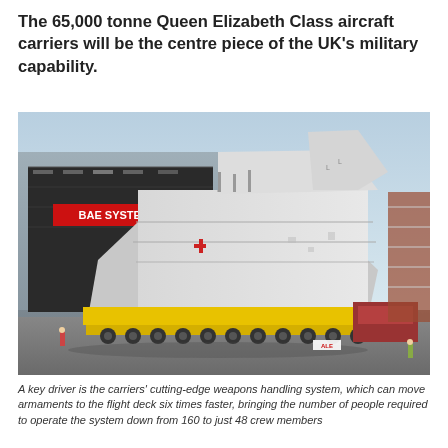The 65,000 tonne Queen Elizabeth Class aircraft carriers will be the centre piece of the UK's military capability.
[Figure (photo): A large section of a Queen Elizabeth Class aircraft carrier being transported on a heavy-lift vehicle outside a BAE Systems facility. The massive white ship section dominates the image against a blue sky, with yellow transport equipment visible beneath it.]
A key driver is the carriers' cutting-edge weapons handling system, which can move armaments to the flight deck six times faster, bringing the number of people required to operate the system down from 160 to just 48 crew members